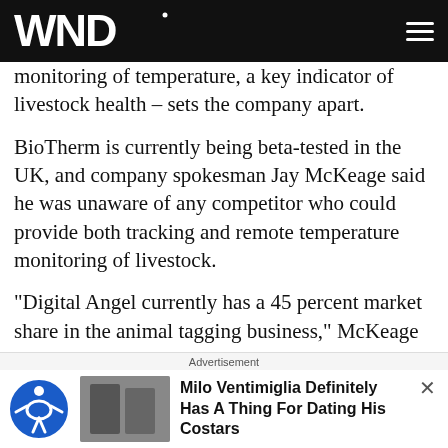WND
monitoring of temperature, a key indicator of livestock health – sets the company apart.
BioTherm is currently being beta-tested in the UK, and company spokesman Jay McKeage said he was unaware of any competitor who could provide both tracking and remote temperature monitoring of livestock.
"Digital Angel currently has a 45 percent market share in the animal tagging business," McKeage said.
AllFlex USA Inc. in Dallas dominates the market
Advertisement
Milo Ventimiglia Definitely Has A Thing For Dating His Costars